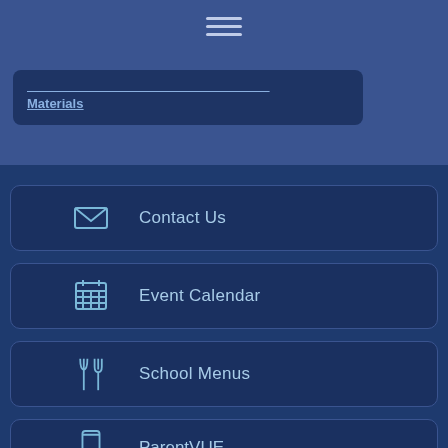[Figure (screenshot): Mobile app navigation page for a school district website showing hamburger menu icon and a partially visible link card at top, followed by four navigation buttons: Contact Us (envelope icon), Event Calendar (calendar icon), School Menus (fork and knife icon), ParentVUE (phone icon, partially visible)]
...ooking Directory for Drivers and Hazardous Materials
Contact Us
Event Calendar
School Menus
ParentVUE